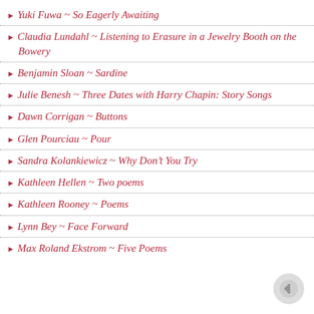Yuki Fuwa ~ So Eagerly Awaiting
Claudia Lundahl ~ Listening to Erasure in a Jewelry Booth on the Bowery
Benjamin Sloan ~ Sardine
Julie Benesh ~ Three Dates with Harry Chapin: Story Songs
Dawn Corrigan ~ Buttons
Glen Pourciau ~ Pour
Sandra Kolankiewicz ~ Why Don’t You Try
Kathleen Hellen ~ Two poems
Kathleen Rooney ~ Poems
Lynn Bey ~ Face Forward
Max Roland Ekstrom ~ Five Poems